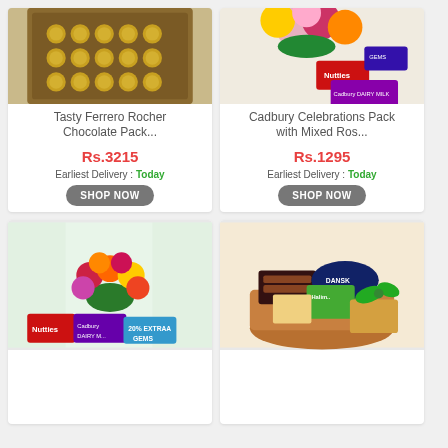[Figure (photo): Tasty Ferrero Rocher chocolates in box]
Tasty Ferrero Rocher Chocolate Pack...
Rs.3215
Earliest Delivery : Today
SHOP NOW
[Figure (photo): Cadbury Celebrations Pack with Mixed Roses and chocolates]
Cadbury Celebrations Pack with Mixed Ros...
Rs.1295
Earliest Delivery : Today
SHOP NOW
[Figure (photo): Colorful roses bouquet with Cadbury chocolates]
[Figure (photo): Gift hamper with sweets, dry fruits and chocolates]